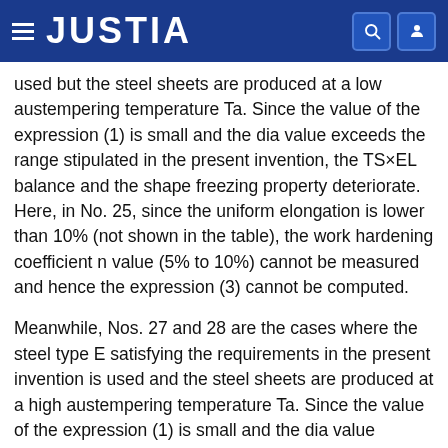JUSTIA
used but the steel sheets are produced at a low austempering temperature Ta. Since the value of the expression (1) is small and the dia value exceeds the range stipulated in the present invention, the TS×EL balance and the shape freezing property deteriorate. Here, in No. 25, since the uniform elongation is lower than 10% (not shown in the table), the work hardening coefficient n value (5% to 10%) cannot be measured and hence the expression (3) cannot be computed.
Meanwhile, Nos. 27 and 28 are the cases where the steel type E satisfying the requirements in the present invention is used and the steel sheets are produced at a high austempering temperature Ta. Since the value of the expression (1) is small and the dia value exceeds the range stipulated in the present invention, the TS×EL balance and the shape freezing property deteriorate.